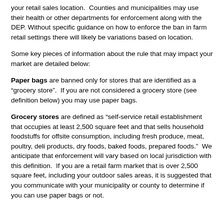your retail sales location.  Counties and municipalities may use their health or other departments for enforcement along with the DEP. Without specific guidance on how to enforce the ban in farm retail settings there will likely be variations based on location.
Some key pieces of information about the rule that may impact your market are detailed below:
Paper bags are banned only for stores that are identified as a “grocery store”.  If you are not considered a grocery store (see definition below) you may use paper bags.
Grocery stores are defined as “self-service retail establishment that occupies at least 2,500 square feet and that sells household foodstuffs for offsite consumption, including fresh produce, meat, poultry, deli products, dry foods, baked foods, prepared foods.”  We anticipate that enforcement will vary based on local jurisdiction with this definition.  If you are a retail farm market that is over 2,500 square feet, including your outdoor sales areas, it is suggested that you communicate with your municipality or county to determine if you can use paper bags or not.